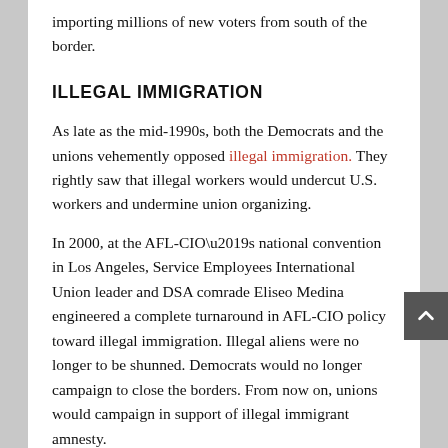importing millions of new voters from south of the border.
ILLEGAL IMMIGRATION
As late as the mid-1990s, both the Democrats and the unions vehemently opposed illegal immigration. They rightly saw that illegal workers would undercut U.S. workers and undermine union organizing.
In 2000, at the AFL-CIO’s national convention in Los Angeles, Service Employees International Union leader and DSA comrade Eliseo Medina engineered a complete turnaround in AFL-CIO policy toward illegal immigration. Illegal aliens were no longer to be shunned. Democrats would no longer campaign to close the borders. From now on, unions would campaign in support of illegal immigrant amnesty.